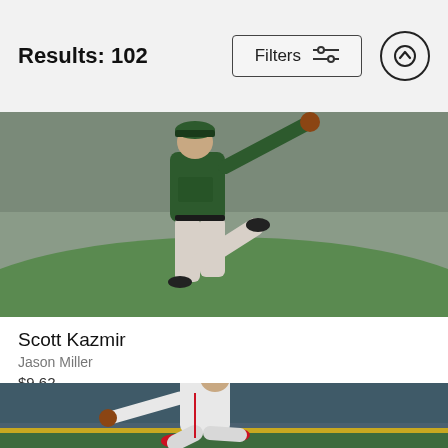Results: 102  Filters  ↑
[Figure (photo): Baseball pitcher in green Oakland Athletics uniform mid-windup, viewed from side, light grey pants, dark green top]
Scott Kazmir
Jason Miller
$9.62
[Figure (photo): Baseball pitcher in St. Louis Cardinals white/grey uniform and red cap, mid-delivery follow-through on mound, crowd visible in background]